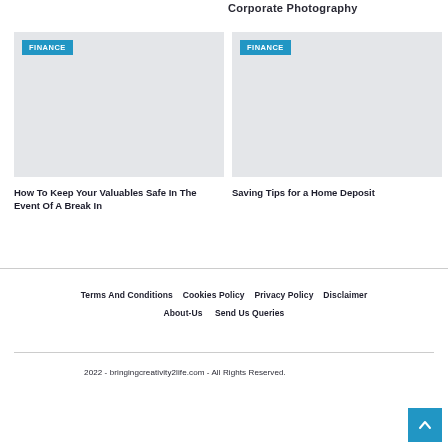Corporate Photography
[Figure (photo): Finance category image placeholder (left card)]
[Figure (photo): Finance category image placeholder (right card)]
How To Keep Your Valuables Safe In The Event Of A Break In
Saving Tips for a Home Deposit
Terms And Conditions  Cookies Policy  Privacy Policy  Disclaimer  About-Us  Send Us Queries
2022 - bringingcreativity2life.com - All Rights Reserved.